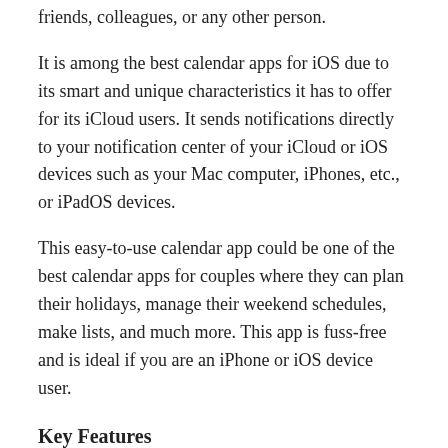friends, colleagues, or any other person.
It is among the best calendar apps for iOS due to its smart and unique characteristics it has to offer for its iCloud users. It sends notifications directly to your notification center of your iCloud or iOS devices such as your Mac computer, iPhones, etc., or iPadOS devices.
This easy-to-use calendar app could be one of the best calendar apps for couples where they can plan their holidays, manage their weekend schedules, make lists, and much more. This app is fuss-free and is ideal if you are an iPhone or iOS device user.
Key Features
Automatically connects your iOS devices to your iCloud Calendar, which is free
Add your calendars from your social media accounts and stay